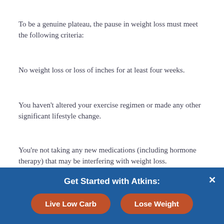To be a genuine plateau, the pause in weight loss must meet the following criteria:
No weight loss or loss of inches for at least four weeks.
You haven't altered your exercise regimen or made any other significant lifestyle change.
You're not taking any new medications (including hormone therapy) that may be interfering with weight loss.
You can honestly say you've adhered to all aspects of the program.
How to Handle a Plateau
[Figure (other): Banner overlay: 'Get Started with Atkins:' with two orange buttons 'Live Low Carb' and 'Lose Weight' on a blue background, with a white X close button.]